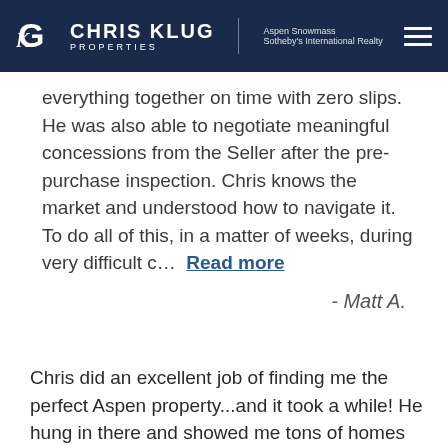CHRIS KLUG PROPERTIES | Aspen Snowmass Sotheby's International Realty
everything together on time with zero slips. He was also able to negotiate meaningful concessions from the Seller after the pre-purchase inspection. Chris knows the market and understood how to navigate it. To do all of this, in a matter of weeks, during very difficult c… Read more
- Matt A.
Chris did an excellent job of finding me the perfect Aspen property...and it took a while! He hung in there and showed me tons of homes that met my criteria. And, once we had a con-tract, his attention to detail